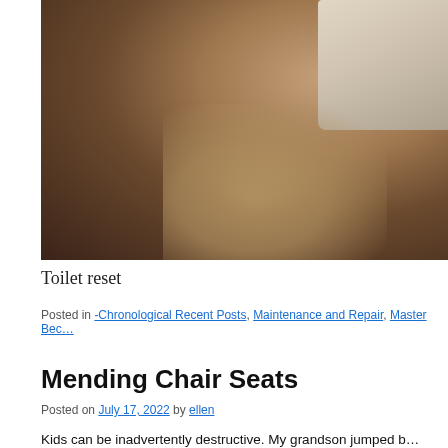[Figure (photo): Photo of a bathroom floor with dark tile and a toilet visible in the upper right corner, with light reflecting off the floor.]
Toilet reset
Posted in -Chronological Recent Posts, Maintenance and Repair, Master Bec…
Mending Chair Seats
Posted on July 17, 2022 by ellen
Kids can be inadvertently destructive. My grandson jumped b…